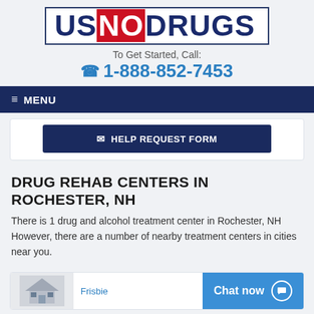[Figure (logo): USNODRUGS logo with US and DRUGS in dark navy, NO in red/white on red background, inside a navy border box]
To Get Started, Call:
☎ 1-888-852-7453
≡ MENU
✉ HELP REQUEST FORM
DRUG REHAB CENTERS IN ROCHESTER, NH
There is 1 drug and alcohol treatment center in Rochester, NH However, there are a number of nearby treatment centers in cities near you.
Frisbie
Chat now